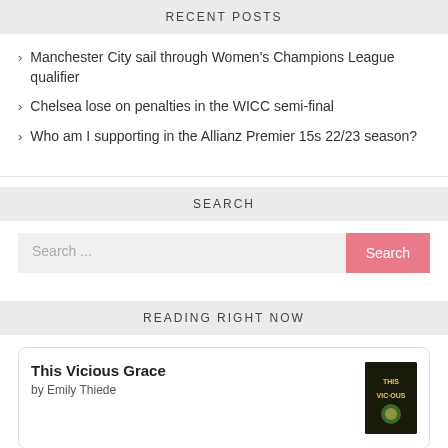RECENT POSTS
Manchester City sail through Women's Champions League qualifier
Chelsea lose on penalties in the WICC semi-final
Who am I supporting in the Allianz Premier 15s 22/23 season?
SEARCH
Search ...
READING RIGHT NOW
This Vicious Grace
by Emily Thiede